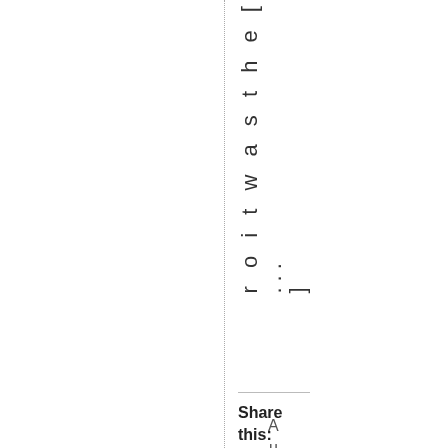r o i t w a s t h e [ ... ]
Share this:
A u